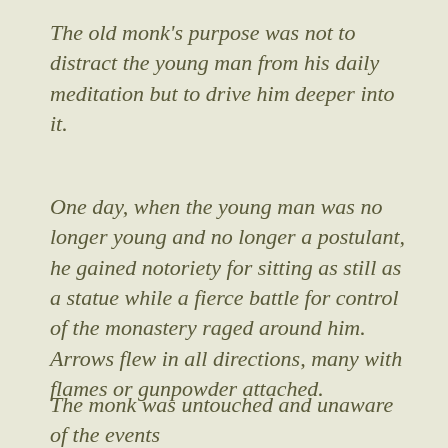The old monk's purpose was not to distract the young man from his daily meditation but to drive him deeper into it.
One day, when the young man was no longer young and no longer a postulant, he gained notoriety for sitting as still as a statue while a fierce battle for control of the monastery raged around him. Arrows flew in all directions, many with flames or gunpowder attached.
The monk was untouched and unaware of the events